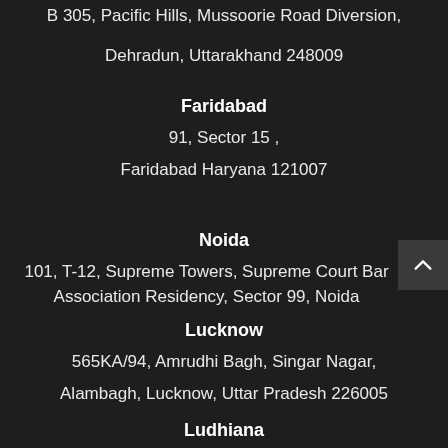B 305, Pacific Hills, Mussoorie Road Diversion,
Dehradun, Uttarakhand 248009
Faridabad
91, Sector 15 ,
Faridabad Haryana 121007
Noida
101, T-12, Supreme Towers, Supreme Court Bar Association Residency, Sector 99, Noida
Lucknow
565KA/94, Amrudhi Bagh, Singar Nagar,
Alambagh, Lucknow, Uttar Pradesh 226005
Ludhiana
#33, Sector 2, Guru Gian Vihar,